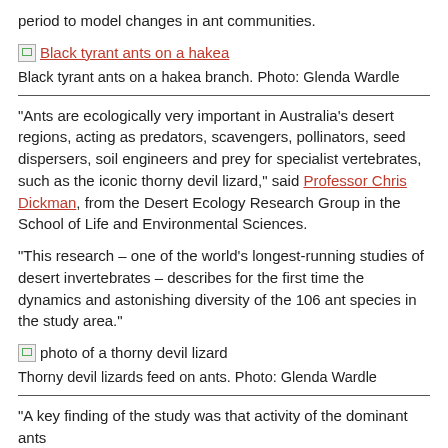period to model changes in ant communities.
[Figure (photo): Broken image icon link: Black tyrant ants on a hakea]
Black tyrant ants on a hakea branch. Photo: Glenda Wardle
“Ants are ecologically very important in Australia’s desert regions, acting as predators, scavengers, pollinators, seed dispersers, soil engineers and prey for specialist vertebrates, such as the iconic thorny devil lizard,” said Professor Chris Dickman, from the Desert Ecology Research Group in the School of Life and Environmental Sciences.
“This research – one of the world’s longest-running studies of desert invertebrates – describes for the first time the dynamics and astonishing diversity of the 106 ant species in the study area.”
[Figure (photo): Broken image icon link: photo of a thorny devil lizard]
Thorny devil lizards feed on ants. Photo: Glenda Wardle
“A key finding of the study was that activity of the dominant ants